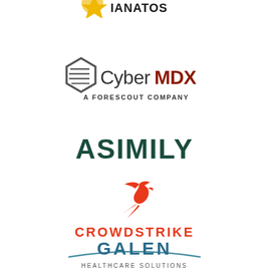[Figure (logo): Partial logo at top of page, partially cropped]
[Figure (logo): CyberMDX - A FORESCOUT COMPANY logo with hexagon icon]
[Figure (logo): ASIMILY logo in dark green bold text]
[Figure (logo): CrowdStrike logo with red falcon bird icon above text]
[Figure (logo): GALEN HEALTHCARE SOLUTIONS logo partially visible at bottom]